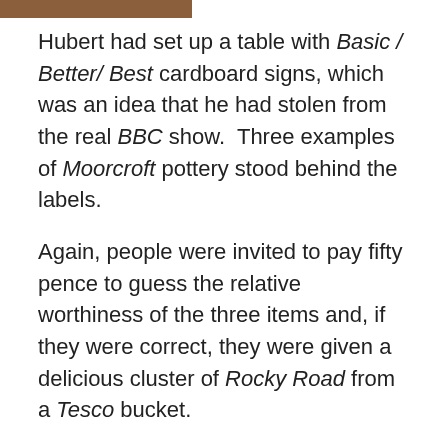[Figure (photo): Partial image strip at top of page, brown/warm toned]
Hubert had set up a table with Basic / Better/ Best cardboard signs, which was an idea that he had stolen from the real BBC show.  Three examples of Moorcroft pottery stood behind the labels.
Again, people were invited to pay fifty pence to guess the relative worthiness of the three items and, if they were correct, they were given a delicious cluster of Rocky Road from a Tesco bucket.
Brassica's twins had been issued with their pocket money that morning, and, miraculously, still had some left.
Castor walked over to the table with the hideous figure and realised that he had seen it before, at Ginevra's house, when he had been visiting with his mother.  He had